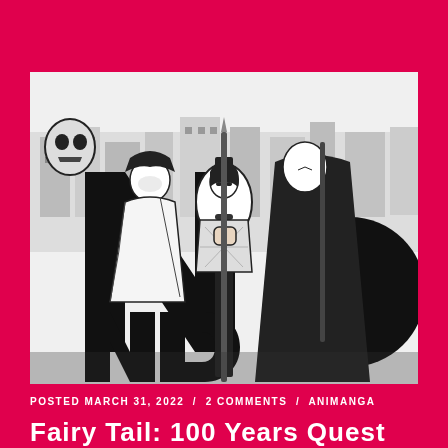[Figure (illustration): Black and white manga illustration showing armored/cloaked figures holding staffs or spears, with large stylized text/letters in the foreground and a city backdrop. Characters appear to be from a fantasy/action manga series.]
POSTED MARCH 31, 2022 / 2 COMMENTS / ANIMANGA
Fairy Tail: 100 Years Quest Ch...